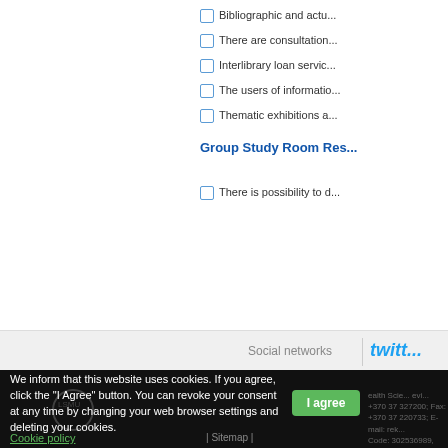Bibliographic and actu...
There are consultation...
Interlibrary loan servic...
The users of informatio...
Thematic exhibitions a...
Group Study Room Res...
There is possibility to d...
Social networks
twitt...
We inform that this website uses cookies. If you agree, click the "I Agree" button. You can revoke your consent at any time by changing your web browser settings and deleting your cookies.
I agree
Cookie policy
| Sitemap |